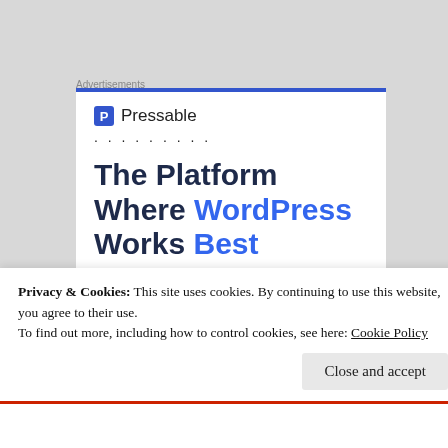Advertisements
[Figure (screenshot): Pressable advertisement showing logo with P icon, dot pattern, and headline 'The Platform Where WordPress Works Best' with 'WordPress' and 'Best' in blue.]
Privacy & Cookies: This site uses cookies. By continuing to use this website, you agree to their use.
To find out more, including how to control cookies, see here: Cookie Policy
Close and accept